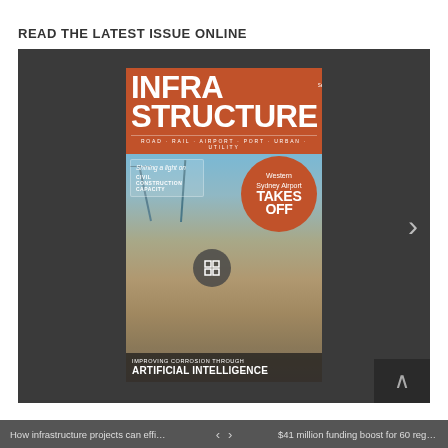READ THE LATEST ISSUE ONLINE
[Figure (screenshot): Magazine viewer showing the cover of Infrastructure magazine (Issue 24, September 2022). The cover features an aerial construction photo of Western Sydney Airport site. Headlines include 'Western Sydney Airport TAKES OFF', 'Shining a light on CIVIL CONSTRUCTION CAPACITY', and 'IMPROVING CORROSION THROUGH ARTIFICIAL INTELLIGENCE'. Navigation arrows are visible on the right side and bottom right. The viewer has a dark grey background.]
How infrastructure projects can efficientl... < > $41 million funding boost for 60 regional...